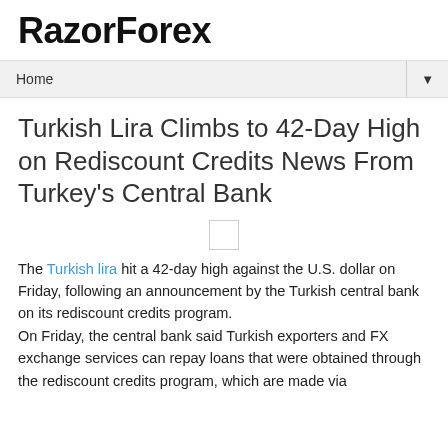RazorForex
Home
Turkish Lira Climbs to 42-Day High on Rediscount Credits News From Turkey's Central Bank
The Turkish lira hit a 42-day high against the U.S. dollar on Friday, following an announcement by the Turkish central bank on its rediscount credits program.
On Friday, the central bank said Turkish exporters and FX exchange services can repay loans that were obtained through the rediscount credits program, which are made via